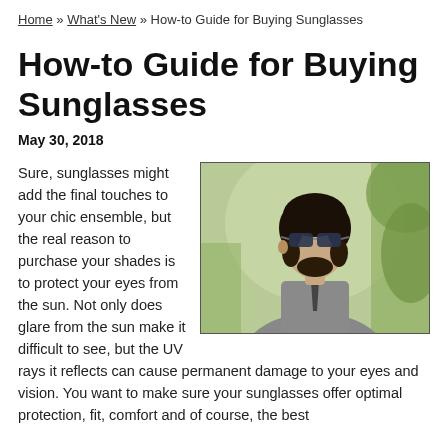Home » What's New » How-to Guide for Buying Sunglasses
How-to Guide for Buying Sunglasses
May 30, 2018
[Figure (photo): Young man with dark beard wearing sunglasses and grey shirt, outdoors with green blurred background]
Sure, sunglasses might add the final touches to your chic ensemble, but the real reason to purchase your shades is to protect your eyes from the sun. Not only does glare from the sun make it difficult to see, but the UV rays it reflects can cause permanent damage to your eyes and vision. You want to make sure your sunglasses offer optimal protection, fit, comfort and of course, the best possible pricing. Here are some things to consider when